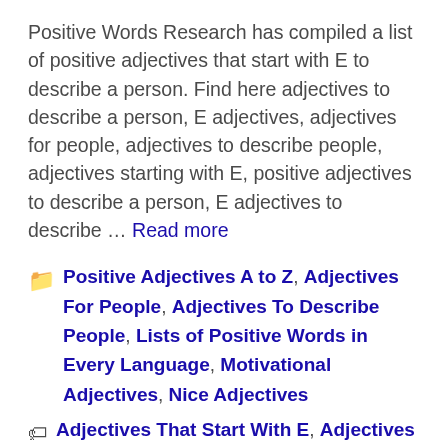Positive Words Research has compiled a list of positive adjectives that start with E to describe a person. Find here adjectives to describe a person, E adjectives, adjectives for people, adjectives to describe people, adjectives starting with E, positive adjectives to describe a person, E adjectives to describe … Read more
Categories: Positive Adjectives A to Z, Adjectives For People, Adjectives To Describe People, Lists of Positive Words in Every Language, Motivational Adjectives, Nice Adjectives
Tags: Adjectives That Start With E, Adjectives to